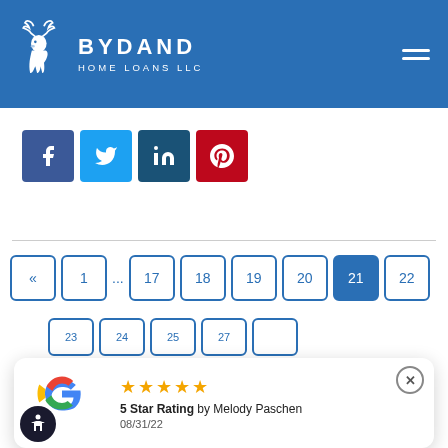[Figure (logo): Bydand Home Loans LLC logo with deer/stag icon in white on blue header background, with hamburger menu icon on right]
[Figure (infographic): Social media share buttons: Facebook (dark blue), Twitter (light blue), LinkedIn (dark navy), Pinterest (red)]
[Figure (infographic): Pagination navigation showing: « 1 ... 17 18 19 20 21(active) 22 and partial second row 23 24 25 27 and empty button]
[Figure (infographic): Google review popup showing 5 yellow stars, '5 Star Rating by Melody Paschen', date 08/31/22, Google G logo, accessibility icon, and close X button]